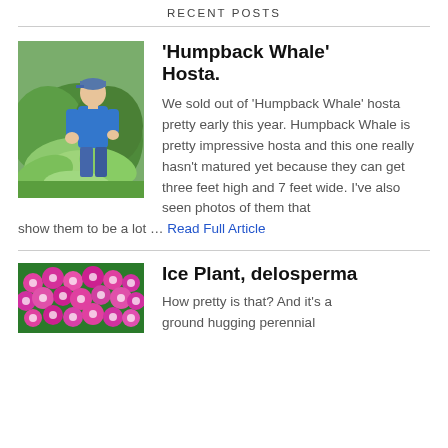RECENT POSTS
[Figure (photo): Man in blue shirt and cap crouching next to a large hosta plant with big green leaves outdoors]
'Humpback Whale' Hosta.
We sold out of 'Humpback Whale' hosta pretty early this year. Humpback Whale is pretty impressive hosta and this one really hasn't matured yet because they can get three feet high and 7 feet wide. I've also seen photos of them that show them to be a lot … Read Full Article
[Figure (photo): Close-up of bright pink/magenta ice plant (delosperma) flowers with many small blooms covering the ground]
Ice Plant, delosperma
How pretty is that? And it's a ground hugging perennial